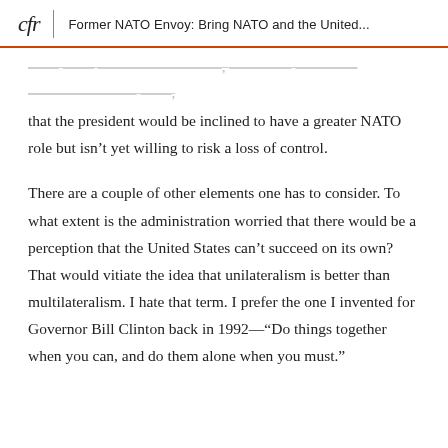cfr | Former NATO Envoy: Bring NATO and the United...
that the president would be inclined to have a greater NATO role but isn’t yet willing to risk a loss of control.
There are a couple of other elements one has to consider. To what extent is the administration worried that there would be a perception that the United States can’t succeed on its own? That would vitiate the idea that unilateralism is better than multilateralism. I hate that term. I prefer the one I invented for Governor Bill Clinton back in 1992—“Do things together when you can, and do them alone when you must.”